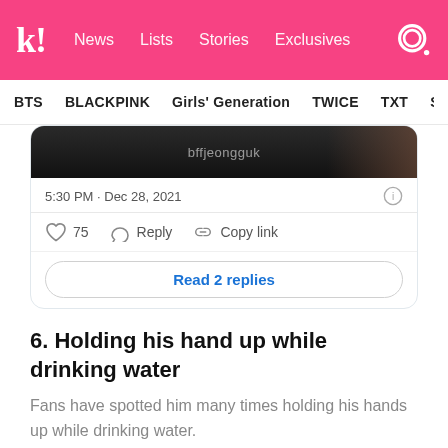k! News Lists Stories Exclusives
BTS  BLACKPINK  Girls' Generation  TWICE  TXT  SEVE
[Figure (screenshot): Partial screenshot of a tweet showing an image with watermark 'bffjeongguk', timestamp '5:30 PM · Dec 28, 2021', like count 75, Reply and Copy link actions, and a 'Read 2 replies' button]
6. Holding his hand up while drinking water
Fans have spotted him many times holding his hands up while drinking water.
[Figure (screenshot): Partial bottom of a tweet card showing a black circular avatar and handle 'tk' with a Twitter bird icon]